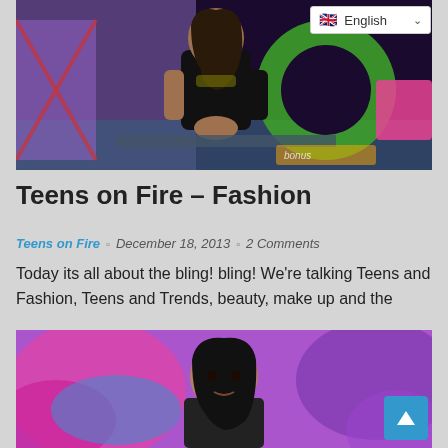[Figure (photo): A teenage girl sitting in a TV studio set with colorful background including a large green letter O shape and purple/pink elements. She is wearing a black top.]
Teens on Fire – Fashion
Teens on Fire  December 18, 2013  2 Comments
Today its all about the bling! bling! We're talking Teens and Fashion, Teens and Trends, beauty, make up and the
[Figure (photo): A young woman in front of a colorful pink and purple blurred background, looking at the camera.]